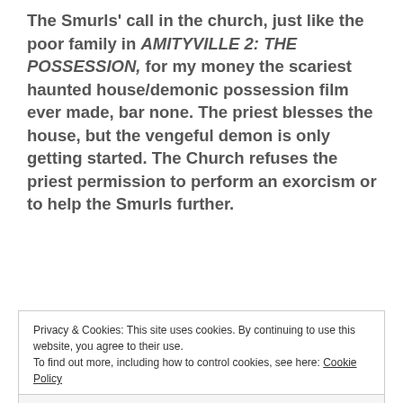The Smurls' call in the church, just like the poor family in AMITYVILLE 2: THE POSSESSION, for my money the scariest haunted house/demonic possession film ever made, bar none. The priest blesses the house, but the vengeful demon is only getting started. The Church refuses the priest permission to perform an exorcism or to help the Smurls further.
So, who do the Smurls turn to now? I cheered loudly when ghostbusters- sorry,
Privacy & Cookies: This site uses cookies. By continuing to use this website, you agree to their use. To find out more, including how to control cookies, see here: Cookie Policy
Close and accept
counterparts in THE CONJURING, and Mr. Warren